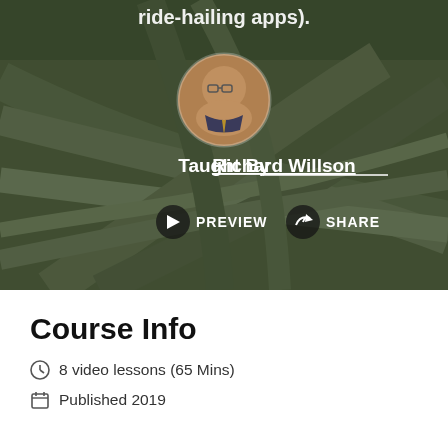[Figure (screenshot): Hero image of aerial highway interchange with dark overlay, circular instructor avatar photo, instructor name, preview and share buttons on dark background]
ride-hailing apps).
Taught By Richard Willson
PREVIEW
SHARE
Course Info
8 video lessons (65 Mins)
Published 2019